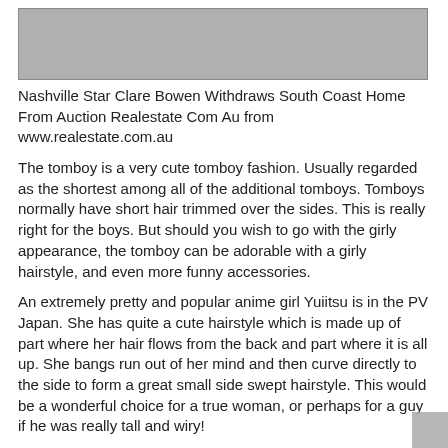[Figure (photo): Gray image placeholder at the top of the page]
Nashville Star Clare Bowen Withdraws South Coast Home From Auction Realestate Com Au from www.realestate.com.au
The tomboy is a very cute tomboy fashion. Usually regarded as the shortest among all of the additional tomboys. Tomboys normally have short hair trimmed over the sides. This is really right for the boys. But should you wish to go with the girly appearance, the tomboy can be adorable with a girly hairstyle, and even more funny accessories.
An extremely pretty and popular anime girl Yuiitsu is in the PV Japan. She has quite a cute hairstyle which is made up of part where her hair flows from the back and part where it is all up. She bangs run out of her mind and then curve directly to the side to form a great small side swept hairstyle. This would be a wonderful choice for a true woman, or perhaps for a guy if he was really tall and wiry!